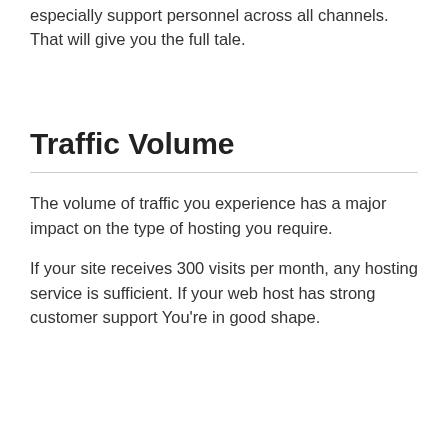especially support personnel across all channels. That will give you the full tale.
Traffic Volume
The volume of traffic you experience has a major impact on the type of hosting you require.
If your site receives 300 visits per month, any hosting service is sufficient. If your web host has strong customer support You're in good shape.